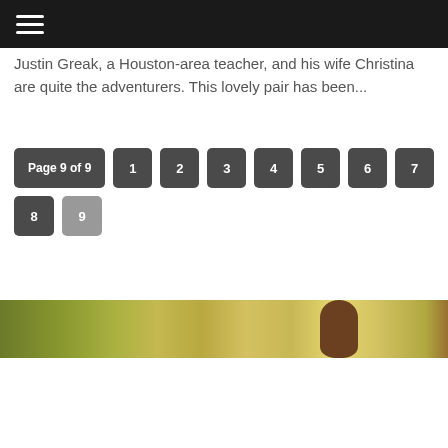≡
Justin Greak, a Houston-area teacher, and his wife Christina are quite the adventurers. This lovely pair has been...
Page 9 of 9  1  2  3  4  5  6  7  8  9
[Figure (photo): Outdoor photo showing greenish-yellow foliage field with a figure visible on the right side]